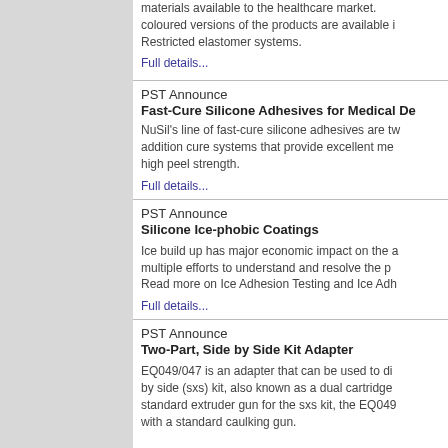materials available to the healthcare market. coloured versions of the products are available Restricted elastomer systems.
Full details...
PST Announce
Fast-Cure Silicone Adhesives for Medical De
NuSil's line of fast-cure silicone adhesives are t addition cure systems that provide excellent me high peel strength.
Full details...
PST Announce
Silicone Ice-phobic Coatings
Ice build up has major economic impact on the a multiple efforts to understand and resolve the p Read more on Ice Adhesion Testing and Ice Adh
Full details...
PST Announce
Two-Part, Side by Side Kit Adapter
EQ049/047 is an adapter that can be used to di by side (sxs) kit, also known as a dual cartridge standard extruder gun for the sxs kit, the EQ049 with a standard caulking gun.